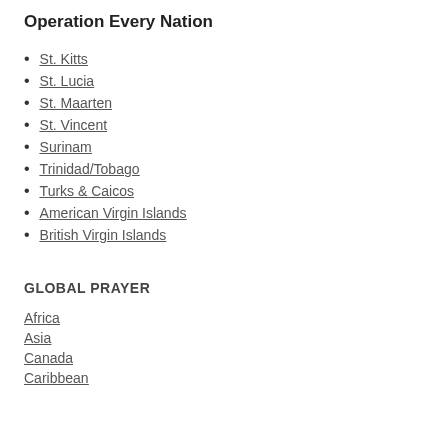Operation Every Nation
St. Kitts
St. Lucia
St. Maarten
St. Vincent
Surinam
Trinidad/Tobago
Turks & Caicos
American Virgin Islands
British Virgin Islands
GLOBAL PRAYER
Africa
Asia
Canada
Caribbean